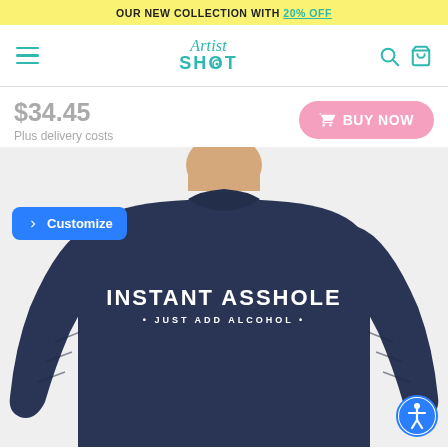OUR NEW COLLECTION WITH 20% OFF
[Figure (logo): ArtistShot logo with hamburger menu, search icon, and shopping cart]
$34.45
Plus delivery costs
BUY NOW
[Figure (photo): Man wearing navy blue crewneck sweatshirt with text 'INSTANT ASSHOLE * JUST ADD ALCOHOL *']
Customize